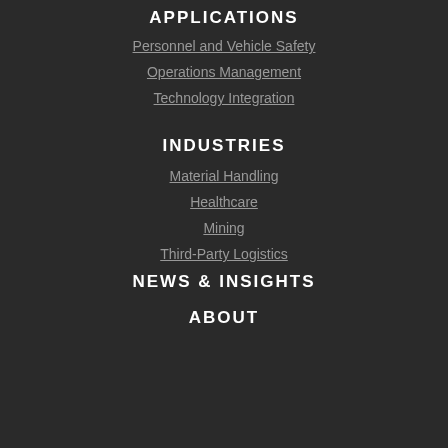APPLICATIONS
Personnel and Vehicle Safety
Operations Management
Technology Integration
INDUSTRIES
Material Handling
Healthcare
Mining
Third-Party Logistics
NEWS & INSIGHTS
ABOUT